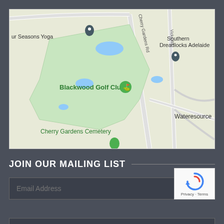[Figure (map): Google Maps screenshot showing Blackwood Golf Club area in Adelaide, Australia. Landmarks visible include Blackwood Golf Club (green area with golf pin icon), Cherry Gardens Cemetery, Southern Dreadlocks Adelaide, Wateresource, and Four Seasons Yoga. Roads shown include Cherry Gardens Rd and Vicks Rd.]
JOIN OUR MAILING LIST
Email Address